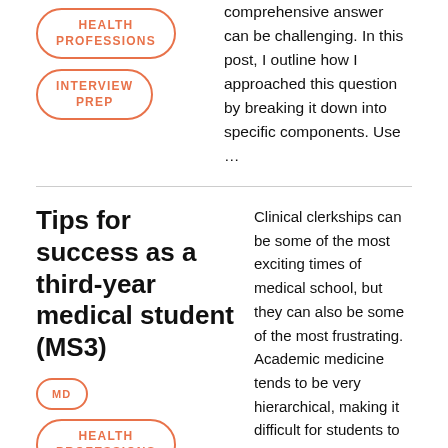HEALTH PROFESSIONS
INTERVIEW PREP
comprehensive answer can be challenging. In this post, I outline how I approached this question by breaking it down into specific components. Use …
Tips for success as a third-year medical student (MS3)
MD
HEALTH PROFESSIONS
Clinical clerkships can be some of the most exciting times of medical school, but they can also be some of the most frustrating. Academic medicine tends to be very hierarchical, making it difficult for students to advocate for their own learning. Residents are often busy and stressed. Asking questions is often